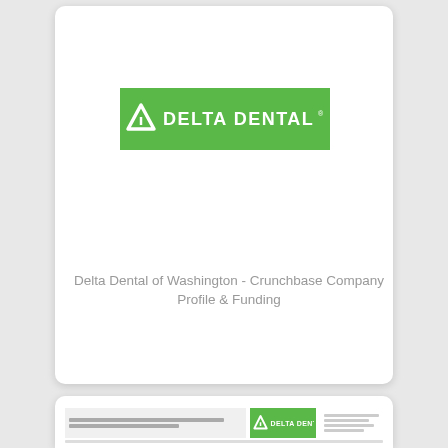[Figure (logo): Delta Dental logo — white triangle icon and white 'DELTA DENTAL' text on green background]
Delta Dental of Washington - Crunchbase Company Profile & Funding
[Figure (screenshot): Partial screenshot of a Delta Dental form/document at the bottom of the page, showing text content and the Delta Dental logo on a green background]